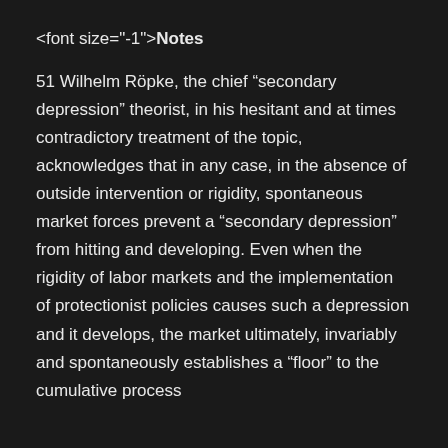<font size="-1">Notes
51 Wilhelm Röpke, the chief “secondary depression” theorist, in his hesitant and at times contradictory treatment of the topic, acknowledges that in any case, in the absence of outside intervention or rigidity, spontaneous market forces prevent a “secondary depression” from hitting and developing. Even when the rigidity of labor markets and the implementation of protectionist policies causes such a depression and it develops, the market ultimately, invariably and spontaneously establishes a “floor” to the cumulative process